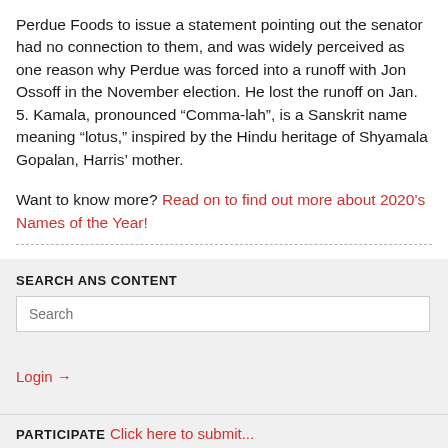Perdue Foods to issue a statement pointing out the senator had no connection to them, and was widely perceived as one reason why Perdue was forced into a runoff with Jon Ossoff in the November election. He lost the runoff on Jan. 5. Kamala, pronounced “Comma-lah”, is a Sanskrit name meaning “lotus,” inspired by the Hindu heritage of Shyamala Gopalan, Harris’ mother.
Want to know more? Read on to find out more about 2020’s Names of the Year!
SEARCH ANS CONTENT
Search
Login →
PARTICIPATE
Click here to submit...